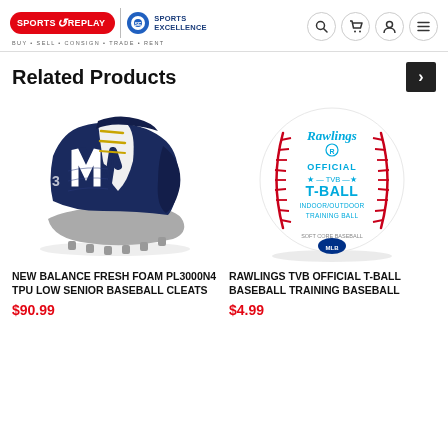Sports Replay | Sports Excellence — BUY · SELL · CONSIGN · TRADE · RENT
Related Products
[Figure (photo): New Balance Fresh Foam PL3000N4 TPU Low Senior Baseball Cleats — navy blue and white baseball cleat shoe]
NEW BALANCE FRESH FOAM PL3000N4 TPU LOW SENIOR BASEBALL CLEATS
$90.99
[Figure (photo): Rawlings TVB Official T-Ball Baseball Training Baseball — white baseball with red stitching and Rawlings branding]
RAWLINGS TVB OFFICIAL T-BALL BASEBALL TRAINING BASEBALL
$4.99